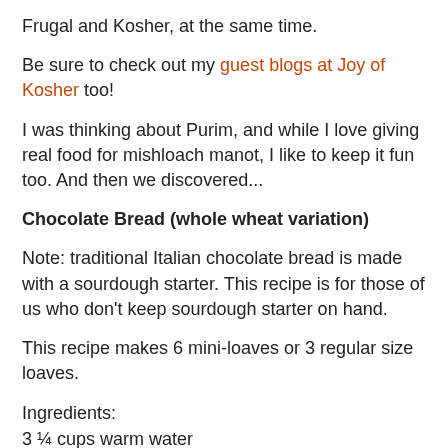Frugal and Kosher, at the same time.
Be sure to check out my guest blogs at Joy of Kosher too!
I was thinking about Purim, and while I love giving real food for mishloach manot, I like to keep it fun too. And then we discovered...
Chocolate Bread (whole wheat variation)
Note: traditional Italian chocolate bread is made with a sourdough starter. This recipe is for those of us who don't keep sourdough starter on hand.
This recipe makes 6 mini-loaves or 3 regular size loaves.
Ingredients:
3 ¼ cups warm water
2 tsp sugar
3 tsp dry yeast
9 cups whole wheat flour
1 cup sugar